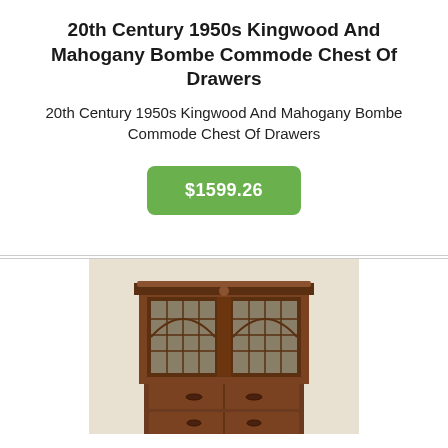20th Century 1950s Kingwood And Mahogany Bombe Commode Chest Of Drawers
20th Century 1950s Kingwood And Mahogany Bombe Commode Chest Of Drawers
$1599.26
[Figure (photo): Photograph of a wooden antique-style cabinet/bookcase with two arched glass-paned doors on top and drawers below, in mahogany/dark wood finish]